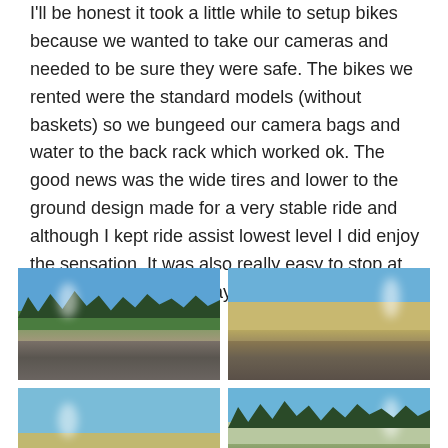I'll be honest it took a little while to setup bikes because we wanted to take our cameras and needed to be sure they were safe. The bikes we rented were the standard models (without baskets) so we bungeed our camera bags and water to the back rack which worked ok. The good news was the wide tires and lower to the ground design made for a very stable ride and although I kept ride assist lowest level I did enjoy the sensation. It was also really easy to stop at some sites along the way, including this thermal pool.
[Figure (photo): Outdoor landscape photo showing a river, green meadow, gravel area, and treeline under a blue sky — likely Yellowstone National Park.]
[Figure (photo): Outdoor photo showing a geothermal area with steam/geyser erupting, a person walking on a dry dusty plain under a blue sky — likely Yellowstone.]
[Figure (photo): Outdoor landscape photo showing an open field or geothermal basin area with steam, under a partly cloudy sky.]
[Figure (photo): Outdoor photo showing trees and steam or geyser activity, blue sky visible — likely Yellowstone National Park geothermal area.]